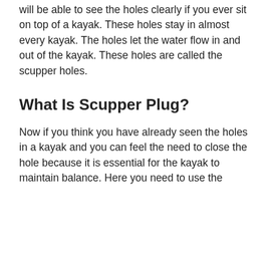will be able to see the holes clearly if you ever sit on top of a kayak. These holes stay in almost every kayak. The holes let the water flow in and out of the kayak. These holes are called the scupper holes.
What Is Scupper Plug?
Now if you think you have already seen the holes in a kayak and you can feel the need to close the hole because it is essential for the kayak to maintain balance. Here you need to use the